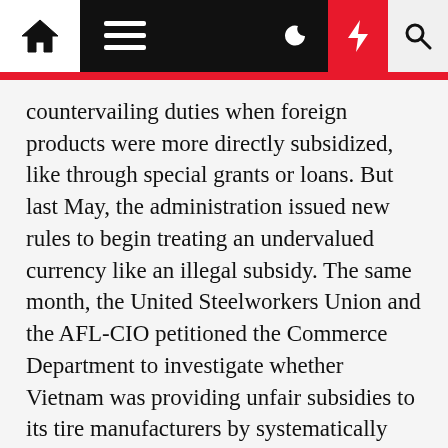[Navigation bar with home, menu, dark mode, breaking news, and search icons]
countervailing duties when foreign products were more directly subsidized, like through special grants or loans. But last May, the administration issued new rules to begin treating an undervalued currency like an illegal subsidy. The same month, the United Steelworkers Union and the AFL-CIO petitioned the Commerce Department to investigate whether Vietnam was providing unfair subsidies to its tire manufacturers by systematically undervaluing its currency in relation to the U.S. dollar.
In a letter to the Commerce Department Monday, the Treasury Department said that Vietnam had undervalued its currency by about 4.7 percent against the U.S. dollar, giving the country an advantage when it exported the tires.
The Commerce Department's division all...